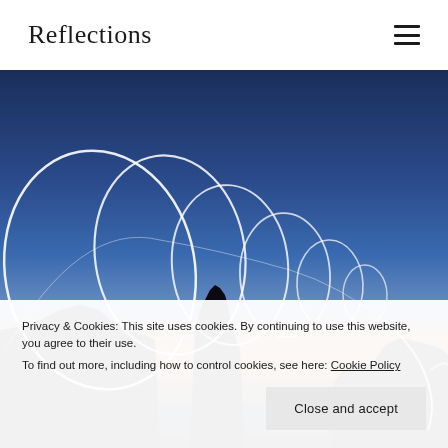Reflections
[Figure (photo): Long-exposure light painting photograph showing glowing white loops and spirals of light over a dark coastal landscape at dusk/twilight, with silhouetted rock formations against a blue-orange gradient sky]
Privacy & Cookies: This site uses cookies. By continuing to use this website, you agree to their use.
To find out more, including how to control cookies, see here: Cookie Policy
Close and accept